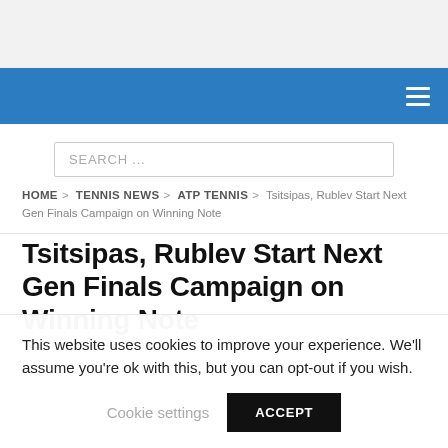SEARCH ...
HOME > TENNIS NEWS > ATP TENNIS > Tsitsipas, Rublev Start Next Gen Finals Campaign on Winning Note
Tsitsipas, Rublev Start Next Gen Finals Campaign on Winning Note
This website uses cookies to improve your experience. We'll assume you're ok with this, but you can opt-out if you wish.
Cookie settings | ACCEPT